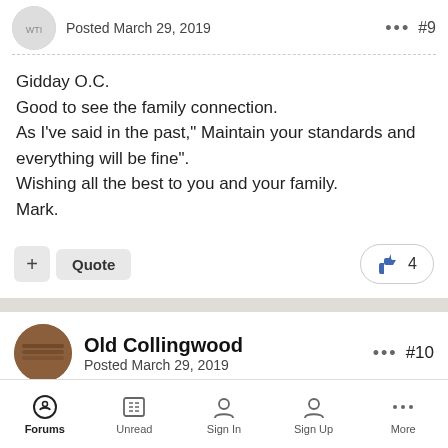Posted March 29, 2019 #9
Gidday O.C.
Good to see the family connection.
As I've said in the past," Maintain your standards and everything will be fine".
Wishing all the best to you and your family.
Mark.
+ Quote  👍 4
Old Collingwood
Posted March 29, 2019 #10
Forums  Unread  Sign In  Sign Up  More